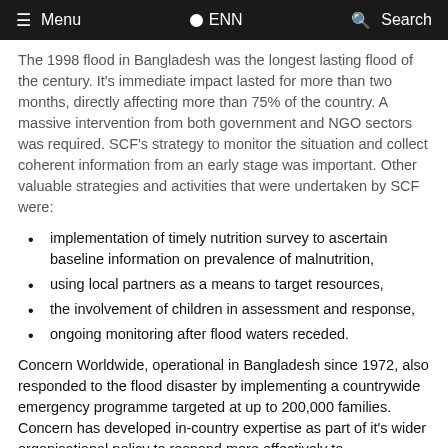Menu  ENN  Search
The 1998 flood in Bangladesh was the longest lasting flood of the century. It's immediate impact lasted for more than two months, directly affecting more than 75% of the country. A massive intervention from both government and NGO sectors was required. SCF's strategy to monitor the situation and collect coherent information from an early stage was important. Other valuable strategies and activities that were undertaken by SCF were:
implementation of timely nutrition survey to ascertain baseline information on prevalence of malnutrition,
using local partners as a means to target resources,
the involvement of children in assessment and response,
ongoing monitoring after flood waters receded.
Concern Worldwide, operational in Bangladesh since 1972, also responded to the flood disaster by implementing a countrywide emergency programme targeted at up to 200,000 families. Concern has developed in-country expertise as part of it's wider organisational policy to respond more effectively to emergencies particularly with respect to appropriate skills, local resources, timeliness and preparedness.